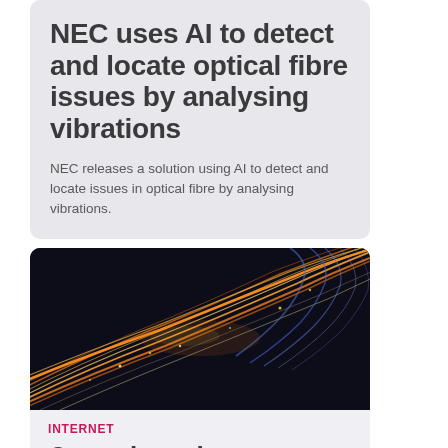NEC uses AI to detect and locate optical fibre issues by analysing vibrations
NEC releases a solution using AI to detect and locate issues in optical fibre by analysing vibrations.
[Figure (photo): Abstract photo of glowing fibre optic cables curving against a dark background, with warm orange and cool blue light trails]
INTERNET
Orcon launches